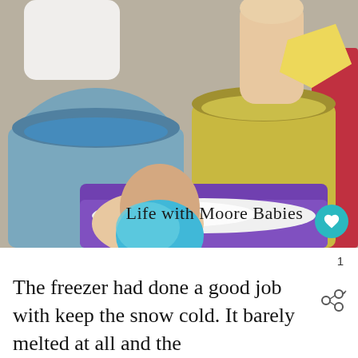[Figure (photo): Child's hands holding a blue ice ball over blue and yellow buckets filled with colored water/ice, with a purple tray containing white snow in foreground. Watermark reads 'Life with Moore Babies' in handwritten style.]
1
The freezer had done a good job with keeping the snow cold. It barely melted at all and the